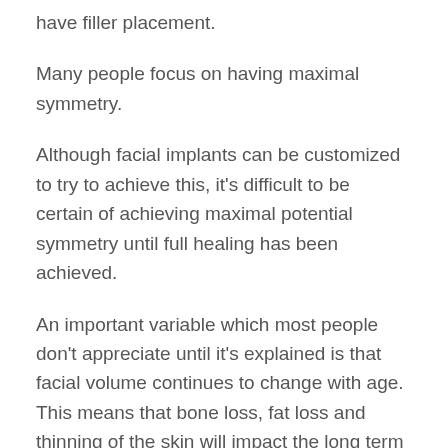have filler placement.
Many people focus on having maximal symmetry.
Although facial implants can be customized to try to achieve this, it's difficult to be certain of achieving maximal potential symmetry until full healing has been achieved.
An important variable which most people don't appreciate until it's explained is that facial volume continues to change with age. This means that bone loss, fat loss and thinning of the skin will impact the long term results of facial implants.